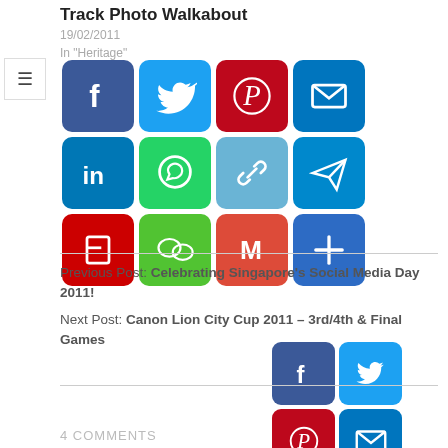Track Photo Walkabout
19/02/2011
In "Heritage"
[Figure (infographic): Row of social media share buttons: Facebook, Twitter, Pinterest, Email, LinkedIn, WhatsApp, Copy Link, Telegram, Flipboard, WeChat, Gmail, More]
Previous Post: Celebrating Singapore's Social Media Day 2011!
Next Post: Canon Lion City Cup 2011 – 3rd/4th & Final Games
[Figure (infographic): Row of social media share buttons: Facebook, Twitter, Pinterest, Email, LinkedIn, WhatsApp, Copy Link, Telegram, Flipboard, WeChat, Gmail, More]
4 COMMENTS